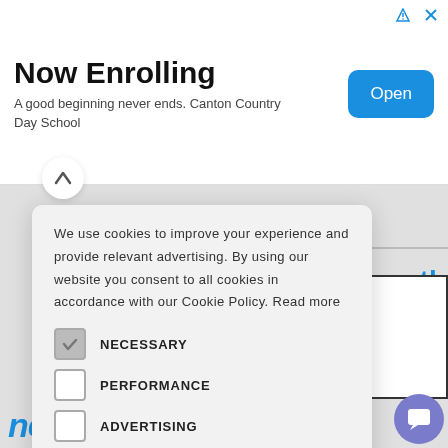[Figure (infographic): Advertisement banner: 'Now Enrolling' with subtitle 'A good beginning never ends. Canton Country Day School' and a blue 'Open' button on the right.]
We use cookies to improve your experience and provide relevant advertising. By using our website you consent to all cookies in accordance with our Cookie Policy. Read more
NECESSARY (checked)
PERFORMANCE
ADVERTISING
FUNCTIONALITY
OTHER
ACCEPT ALL